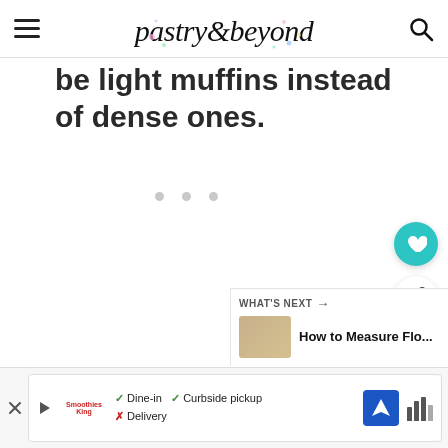pastry&beyond
be light muffins instead of dense ones.
[Figure (screenshot): Ad placeholder with three grey dots]
[Figure (infographic): Floating heart/save button (teal circle with heart icon) and share button (white circle with share icon)]
WHAT'S NEXT → How to Measure Flo...
[Figure (screenshot): Bottom advertisement bar showing Smoothie King ad with Dine-in, Curbside pickup, Delivery options and navigation icon]